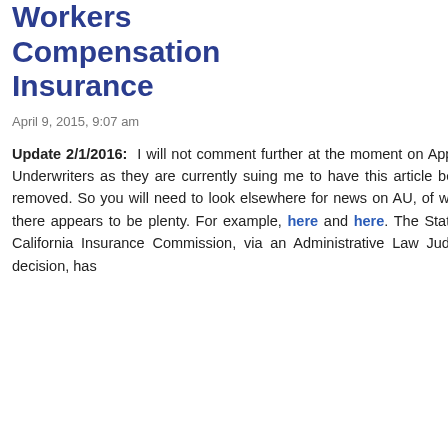Workers Compensation Insurance
April 9, 2015, 9:07 am
Update 2/1/2016: I will not comment further at the moment on Applied Underwriters as they are currently suing me to have this article below removed. So you will need to look elsewhere for news on AU, of which there appears to be plenty. For example, here and here. The State of California Insurance Commission, via an Administrative Law Judge's decision, has
Catastrophe
Greenhouse Effect Basics
Matt Ridley's Lukewarmer Manifesto
Summer of the Shark – Global Warming Edition
Understanding the Global Warming Debate
Video – Climate Catastrophe Denied
PAST FAVORITES
60 Second Refutation of Socialism, While Sitting at the Beach
A Defense of Open Immigration
Advice for the “Reality-Based” Community
Buying a Business
Case Studies on the Minimum Wage
Corporate DNA and Value Creation
Coyote's Law